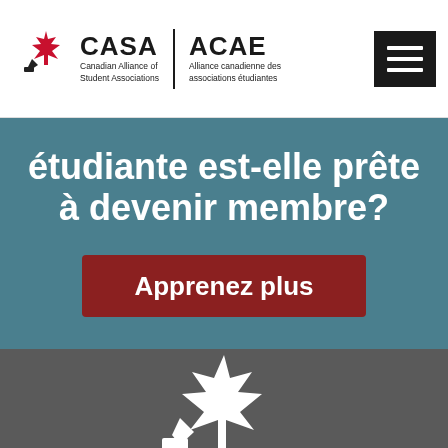[Figure (logo): CASA | ACAE logo with maple leaf and pen icon on left, hamburger menu button on right]
étudiante est-elle prête à devenir membre?
Apprenez plus
[Figure (logo): White CASA maple leaf and pen logo on dark grey background, partially visible]